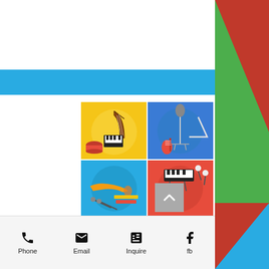[Figure (illustration): Four-quadrant illustration of musical instruments: top-left yellow background with harp, piano, drum; top-right blue background with microphone, triangle, guitar; bottom-left teal background with trumpet, xylophone, drumsticks; bottom-right red background with keyboard, violin, mallets]
Virtual Band/Chorus
Phone  Email  Inquire  fb